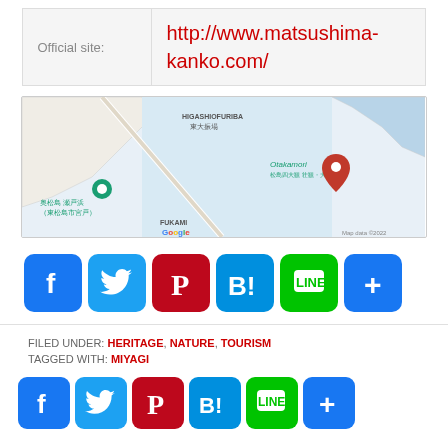| Official site: | http://www.matsushima-kanko.com/ |
[Figure (map): Google Map showing Otakamori area in Matsushima, Miyagi, Japan. Shows HIGASHIOFURIBA/東大振場, Otakamori/松島四大観 壮観・大高森 with red map pin, 奥松島 瀬戸浜（東松島市宮戸） with green pin, FUKAMI. Map data ©2022.]
[Figure (infographic): Social sharing buttons row: Facebook (blue), Twitter (light blue), Pinterest (dark red), Hatena Bookmark (teal B!), LINE (green), Share/Add (blue +)]
FILED UNDER: HERITAGE, NATURE, TOURISM
TAGGED WITH: MIYAGI
[Figure (infographic): Social sharing buttons row (smaller): Facebook (blue), Twitter (light blue), Pinterest (dark red), Hatena Bookmark (teal B!), LINE (green), Share/Add (blue +)]